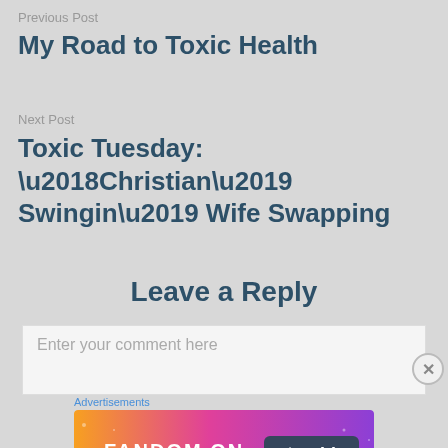Previous Post
My Road to Toxic Health
Next Post
Toxic Tuesday: ‘Christian’ Swingin’ Wife Swapping
Leave a Reply
Enter your comment here
Advertisements
[Figure (other): Fandom on Tumblr advertisement banner with colorful orange-to-purple gradient background and white text and icons]